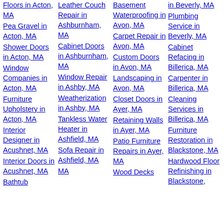Floors in Acton, MA
Pea Gravel in Acton, MA
Shower Doors in Acton, MA
Window Companies in Acton, MA
Furniture Upholstery in Acton, MA
Interior Designer in Acushnet, MA
Interior Doors in Acushnet, MA
Bathtub
Leather Couch Repair in Ashburnham, MA
Cabinet Doors in Ashburnham, MA
Window Repair in Ashby, MA
Weatherization in Ashby, MA
Tankless Water Heater in Ashfield, MA
Sofa Repair in Ashfield, MA
MA
Basement Waterproofing in Avon, MA
Carpet Repair in Avon, MA
Custom Doors in Avon, MA
Landscaping in Avon, MA
Closet Doors in Ayer, MA
Retaining Walls in Ayer, MA
Patio Furniture Repairs in Ayer, MA
Wood Decks
in Beverly, MA
Plumbing Service in Beverly, MA
Cabinet Refacing in Billerica, MA
Carpenter in Billerica, MA
Cleaning Services in Billerica, MA
Furniture Restoration in Blackstone, MA
Hardwood Floor Refinishing in Blackstone,